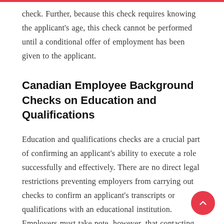check. Further, because this check requires knowing the applicant's age, this check cannot be performed until a conditional offer of employment has been given to the applicant.
Canadian Employee Background Checks on Education and Qualifications
Education and qualifications checks are a crucial part of confirming an applicant's ability to execute a role successfully and effectively. There are no direct legal restrictions preventing employers from carrying out checks to confirm an applicant's transcripts or qualifications with an educational institution. Employers must take note, however, that contacting schools to confirm an applicant's attendance, may reveal a